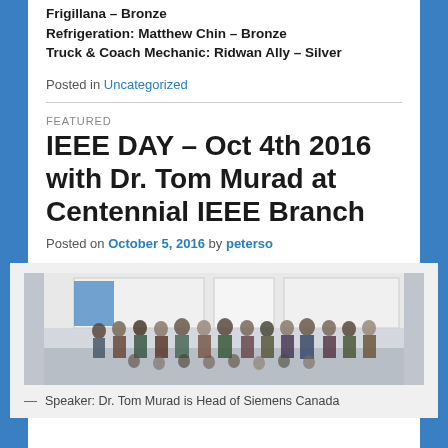Frigillana – Bronze
Refrigeration: Matthew Chin – Bronze
Truck & Coach Mechanic: Ridwan Ally – Silver
Posted in Uncategorized
FEATURED
IEEE DAY – Oct 4th 2016 with Dr. Tom Murad at Centennial IEEE Branch
Posted on October 5, 2016 by peterso
[Figure (photo): Group photo of attendees at IEEE Day event at Centennial College with Dr. Tom Murad, standing in a classroom/lecture hall]
Speaker: Dr. Tom Murad is Head of Siemens Canada